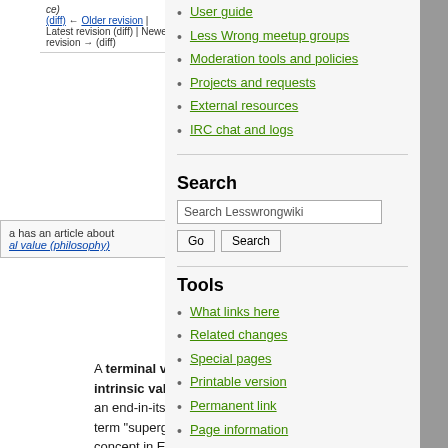ce) (diff) ← Older revision | Latest revision (diff) | Newer revision → (diff)
a has an article about al value (philosophy)
A terminal value (also known as an intrinsic value) is an ultimate goal, an end-in-itself. The non-standard term "supergoal" is used for this concept in Eliezer Yudkowsky's earlier writings
User guide
Less Wrong meetup groups
Moderation tools and policies
Projects and requests
External resources
IRC chat and logs
Search
Tools
What links here
Related changes
Special pages
Printable version
Permanent link
Page information